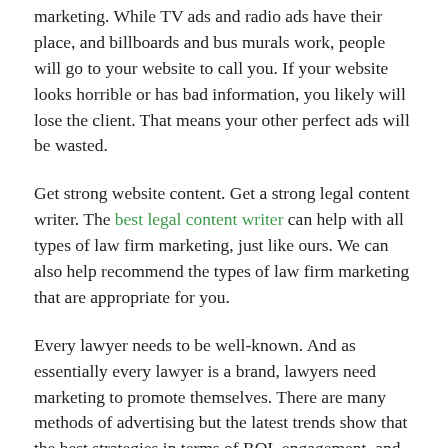marketing.  While TV ads and radio ads have their place, and billboards and bus murals work, people will go to your website to call you.  If your website looks horrible or has bad information, you likely will lose the client.  That means your other perfect ads will be wasted.
Get strong website content.  Get a strong legal content writer.  The best legal content writer can help with all types of law firm marketing, just like ours.  We can also help recommend the types of law firm marketing that are appropriate for you.
Every lawyer needs to be well-known. And as essentially every lawyer is a brand, lawyers need marketing to promote themselves. There are many methods of advertising but the latest trends show that the best strategies in terms of ROI, engagement, and overall effectiveness are the internet strategies. It makes